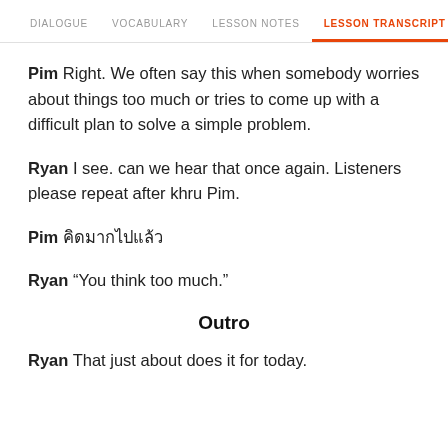DIALOGUE   VOCABULARY   LESSON NOTES   LESSON TRANSCRIPT   C
Pim Right. We often say this when somebody worries about things too much or tries to come up with a difficult plan to solve a simple problem.
Ryan I see. can we hear that once again. Listeners please repeat after khru Pim.
Pim คิดมากไปแล้ว
Ryan “You think too much.”
Outro
Ryan That just about does it for today.